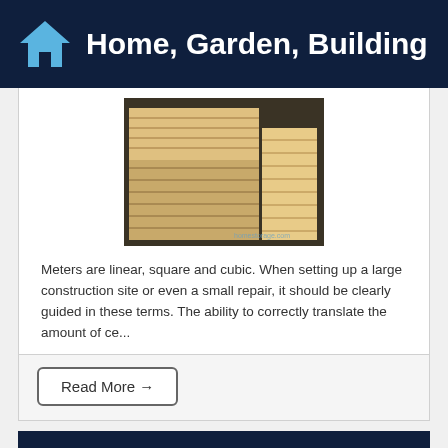Home, Garden, Building
[Figure (photo): Stacked lumber/timber planks in a warehouse or storage area]
Meters are linear, square and cubic. When setting up a large construction site or even a small repair, it should be clearly guided in these terms. The ability to correctly translate the amount of ce...
Read More →
PVC pipe greenhouses: pros and cons, range, installation
[Figure (photo): Partial photo of a greenhouse visible at bottom of page]